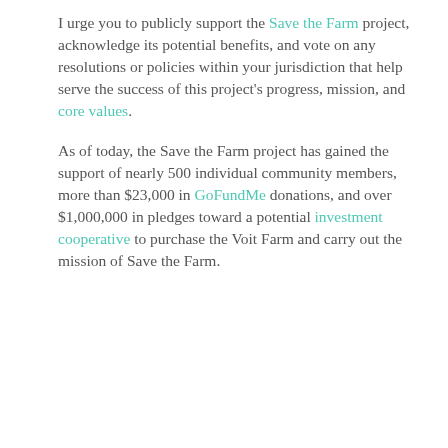I urge you to publicly support the Save the Farm project, acknowledge its potential benefits, and vote on any resolutions or policies within your jurisdiction that help serve the success of this project's progress, mission, and core values.
As of today, the Save the Farm project has gained the support of nearly 500 individual community members, more than $23,000 in GoFundMe donations, and over $1,000,000 in pledges toward a potential investment cooperative to purchase the Voit Farm and carry out the mission of Save the Farm.